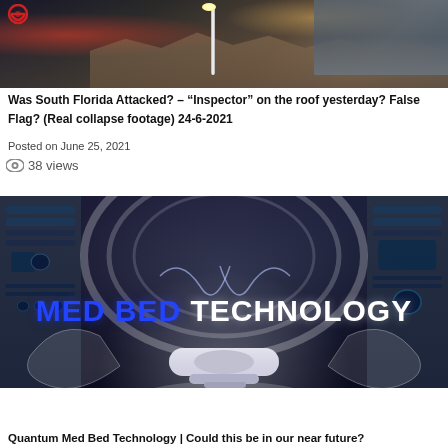[Figure (photo): Photograph of collapsed building rubble at night with a lamp post illuminated, Ghostbusters logo partially visible top left]
Was South Florida Attacked? – “Inspector” on the roof yesterday? False Flag? (Real collapse footage) 24-6-2021
Posted on June 25, 2021
38 views
[Figure (photo): Futuristic medical bay interior with MED BED TECHNOLOGY text overlaid in blue and white, showing a sci-fi bed device]
Quantum Med Bed Technology | Could this be in our near future?